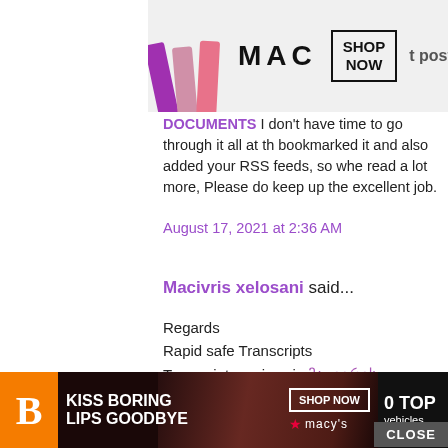[Figure (photo): MAC Cosmetics advertisement banner at top with purple, pink, and red lipsticks, MAC logo, and SHOP NOW button]
DOCUMENTS I don't have time to go through it all at th... bookmarked it and also added your RSS feeds, so whe... read a lot more, Please do keep up the excellent job.
August 17, 2021 at 2:36 AM
Macivris xelosani said...
Regards
Rapid safe Transcripts
Transcript services in მაცივრის ხელოსანი Bangalore,
August 17, 2021 at 4:53 AM
sam said...
[Figure (photo): Macy's advertisement banner at bottom: Blogger icon, KISS BORING LIPS GOODBYE with lip image, SHOP NOW button, Macy's star logo, and dark O TOP vehicles section]